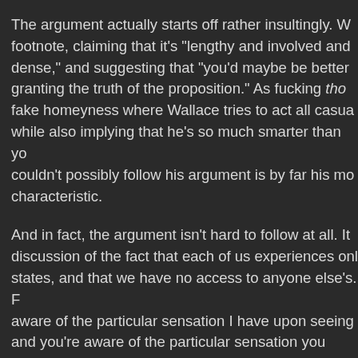The argument actually starts off rather insultingly. W... footnote, claiming that it's "lengthy and involved and dense," and suggesting that "you'd maybe be better granting the truth of the proposition." As fucking tho... fake homeyness where Wallace tries to act all casua... while also implying that he's so much smarter than yo... couldn't possibly follow his argument is by far his mo... characteristic.
And in fact, the argument isn't hard to follow at all. It discussion of the fact that each of us experiences onl... states, and that we have no access to anyone else's. F... aware of the particular sensation I have upon seeing ... and you're aware of the particular sensation you hav... the same stimulus, but between us, we have no way ... we're actually having the same sensation. There is no... can be collected for or against the proposition that th... have upon seeing red is the same sensation that you...